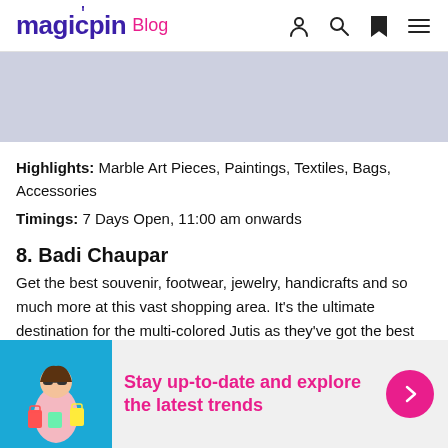magicpin Blog
[Figure (other): Gray/blue advertisement banner placeholder]
Highlights: Marble Art Pieces, Paintings, Textiles, Bags, Accessories
Timings: 7 Days Open, 11:00 am onwards
8. Badi Chaupar
Get the best souvenir, footwear, jewelry, handicrafts and so much more at this vast shopping area. It's the ultimate destination for the multi-colored Jutis as they've got the best lot for their wares here...
[Figure (infographic): Stay up-to-date and explore the latest trends — promotional banner with woman shopping image]